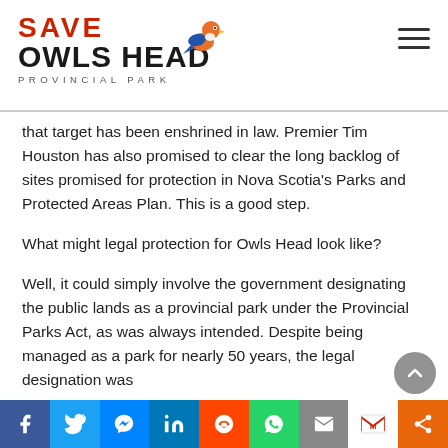SAVE OWLS HEAD PROVINCIAL PARK
that target has been enshrined in law. Premier Tim Houston has also promised to clear the long backlog of sites promised for protection in Nova Scotia's Parks and Protected Areas Plan. This is a good step.
What might legal protection for Owls Head look like?
Well, it could simply involve the government designating the public lands as a provincial park under the Provincial Parks Act, as was always intended. Despite being managed as a park for nearly 50 years, the legal designation was
Social share bar: Facebook, Twitter, Messenger, LinkedIn, Reddit, WhatsApp, Mail, Gmail, Share